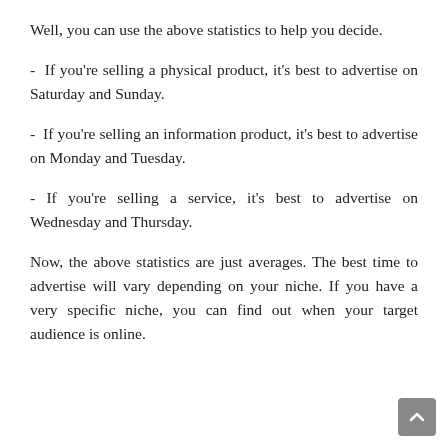Well, you can use the above statistics to help you decide.
- If you're selling a physical product, it's best to advertise on Saturday and Sunday.
- If you're selling an information product, it's best to advertise on Monday and Tuesday.
- If you're selling a service, it's best to advertise on Wednesday and Thursday.
Now, the above statistics are just averages. The best time to advertise will vary depending on your niche. If you have a very specific niche, you can find out when your target audience is online.